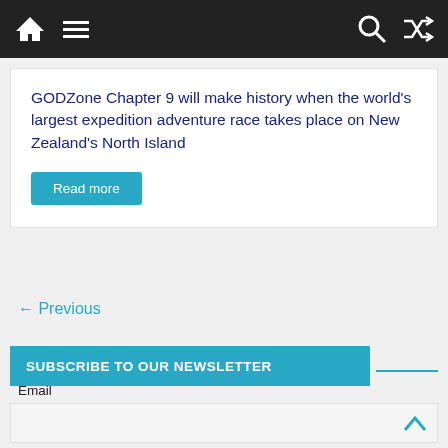Navigation bar with home, menu, search, and shuffle icons
GODZone Chapter 9 will make history when the world's largest expedition adventure race takes place on New Zealand's North Island
Read more
← Previous
SUBSCRIBE TO OUR NEWSLETTER
Email